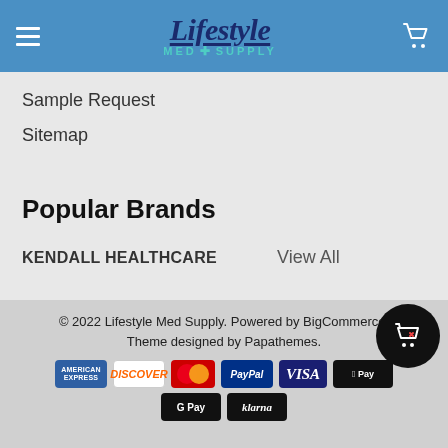[Figure (logo): Lifestyle Med Supply logo with hamburger menu and cart icon on blue header]
Sample Request
Sitemap
Popular Brands
KENDALL HEALTHCARE
View All
© 2022 Lifestyle Med Supply. Powered by BigCommerce. Theme designed by Papathemes.
[Figure (other): Payment method icons: American Express, Discover, Mastercard, PayPal, Visa, Apple Pay, Google Pay, Klarna]